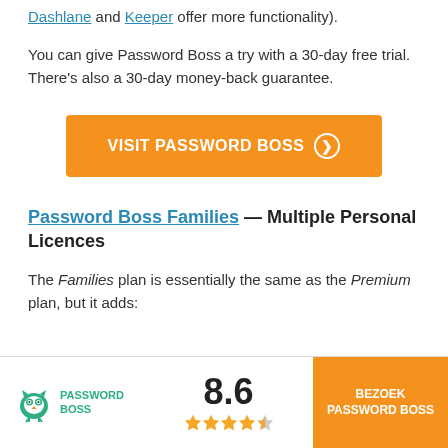Dashlane and Keeper offer more functionality).
You can give Password Boss a try with a 30-day free trial. There’s also a 30-day money-back guarantee.
[Figure (other): Orange button reading VISIT PASSWORD BOSS with right-arrow circle icon]
Password Boss Families — Multiple Personal Licences
The Families plan is essentially the same as the Premium plan, but it adds:
[Figure (other): Footer bar with Password Boss owl logo, score 8.6, four and a half gold stars, and orange BEZOEK PASSWORD BOSS button]